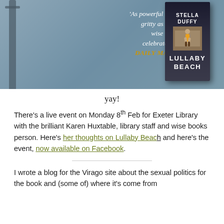[Figure (photo): Book cover image for 'Lullaby Beach' by Stella Duffy, shown against a blue-grey background with a lamp post silhouette. Quote from Daily Mail: 'As powerful and gritty as it is wise and celebratory']
yay!
There's a live event on Monday 8th Feb for Exeter Library with the brilliant Karen Huxtable, library staff and wise books person. Here's her thoughts on Lullaby Beach and here's the event, now available on Facebook.
I wrote a blog for the Virago site about the sexual politics for the book and (some of) where it's come from